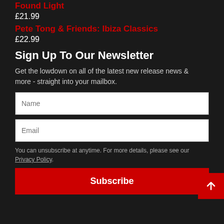Found Light
£21.99
Pete Tong & Friends: Ibiza Classics
£22.99
Sign Up To Our Newsletter
Get the lowdown on all of the latest new release news & more - straight into your mailbox.
Name
Email
You can unsubscribe at anytime. For more details, please see our Privacy Policy.
Subscribe